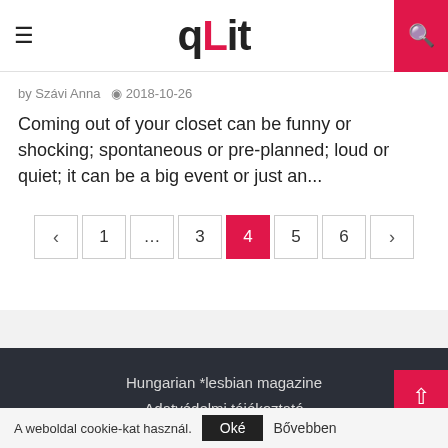qLit
by Szávi Anna  2018-10-26
Coming out of your closet can be funny or shocking; spontaneous or pre-planned; loud or quiet; it can be a big event or just an...
< 1 ... 3 4 5 6 >
Hungarian *lesbian magazine
Adatvédelmi tájékoztató
Copyright @ 2017 qLit
FACEBOOK
A weboldal cookie-kat használ.  Oké  Bővebben